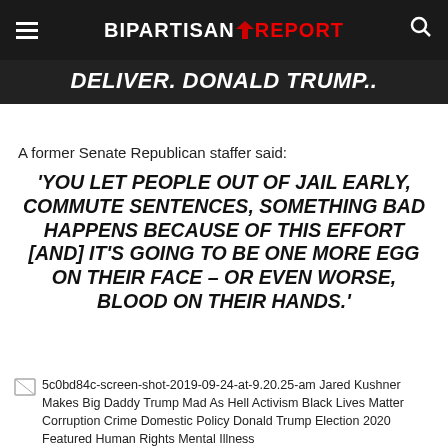BIPARTISAN REPORT
DELIVER. DONALD TRUMP..
A former Senate Republican staffer said:
'YOU LET PEOPLE OUT OF JAIL EARLY, COMMUTE SENTENCES, SOMETHING BAD HAPPENS BECAUSE OF THIS EFFORT [AND] IT'S GOING TO BE ONE MORE EGG ON THEIR FACE – OR EVEN WORSE, BLOOD ON THEIR HANDS.'
5c0bd84c-screen-shot-2019-09-24-at-9.20.25-am Jared Kushner Makes Big Daddy Trump Mad As Hell Activism Black Lives Matter Corruption Crime Domestic Policy Donald Trump Election 2020 Featured Human Rights Mental Illness